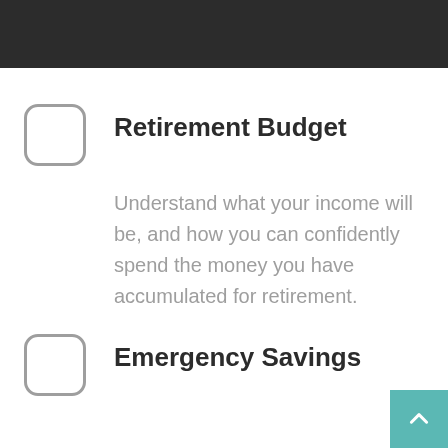Retirement Budget
Understand what your income will be, and how you can confidently spend the money you have accumulated for retirement.
Emergency Savings